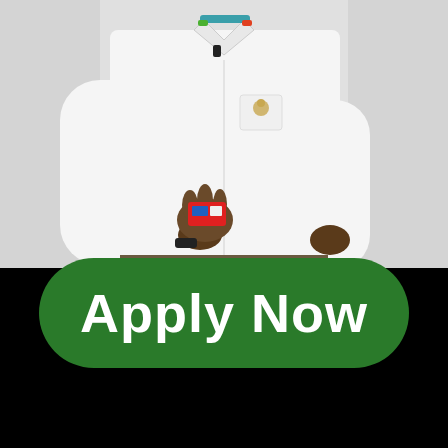[Figure (photo): A man wearing a white long-sleeve button-up shirt with a small logo/patch on the chest pocket, holding a small object in his right hand. He has a microphone clipped to his collar. The background is light gray/white. The image is cropped to show the torso and hands only.]
[Figure (infographic): Black background section at the bottom of the image containing a large green rounded-rectangle button with white bold text reading 'Apply Now'.]